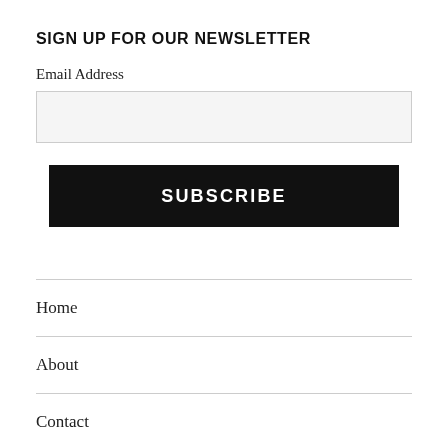SIGN UP FOR OUR NEWSLETTER
Email Address
[Figure (other): Email address input field, empty, light grey background]
SUBSCRIBE
Home
About
Contact